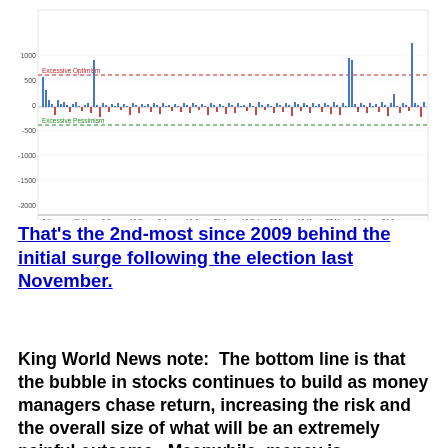[Figure (continuous-plot): Financial chart showing daily bar chart data from approximately November 7 to April 24, with a horizontal red dashed line labeled 'Excessive Optimism' near the top and a green dashed line labeled 'Excessive Pessimism' lower. The bars oscillate above and below zero, with notable spikes. Y-axis ranges from about -2000 to 1000. X-axis shows dates from 7-Nov through 24-Apr.]
That’s the 2nd-most since 2009 behind the initial surge following the election last November.
King World News note:  The bottom line is that the bubble in stocks continues to build as money managers chase return, increasing the risk and the overall size of what will be an extremely painful outcome.  Meanwhile, money is temporarily exiting the gold and silver sector until the trading reverses and